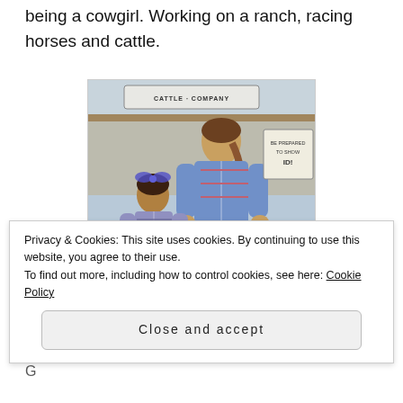being a cowgirl. Working on a ranch, racing horses and cattle.
[Figure (photo): A woman in a plaid shirt and jeans standing next to a young child in a plaid outfit at what appears to be a cattle company fair booth. A sign reading 'CATTLE COMPANY' is visible in the background.]
Privacy & Cookies: This site uses cookies. By continuing to use this website, you agree to their use.
To find out more, including how to control cookies, see here: Cookie Policy
Close and accept
G…